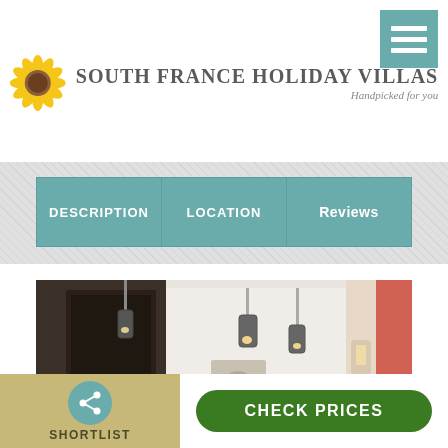[Figure (logo): South France Holiday Villas logo with sunflower and text 'Handpicked for you']
[Figure (infographic): Navigation hamburger menu icon (teal background with white lines) in top right corner]
DESCRIPTION | LOCATION | Reviews
[Figure (photo): Interior photo of a modern holiday villa showing pendant lights hanging from ceiling, dark cabinetry on the left, bright white hallway in center, and curtains on the right]
SHORTLIST
CHECK PRICES